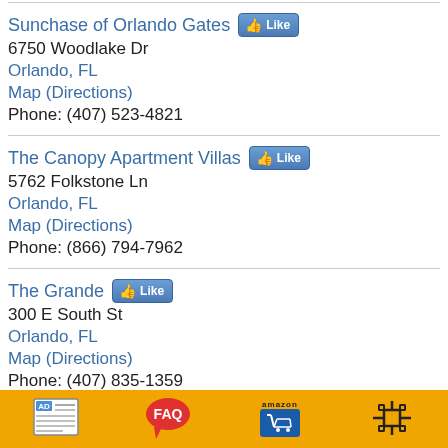Sunchase of Orlando Gates
6750 Woodlake Dr
Orlando, FL
Map (Directions)
Phone: (407) 523-4821
The Canopy Apartment Villas
5762 Folkstone Ln
Orlando, FL
Map (Directions)
Phone: (866) 794-7962
The Grande
300 E South St
Orlando, FL
Map (Directions)
Phone: (407) 835-1359
The Landmark at Universal